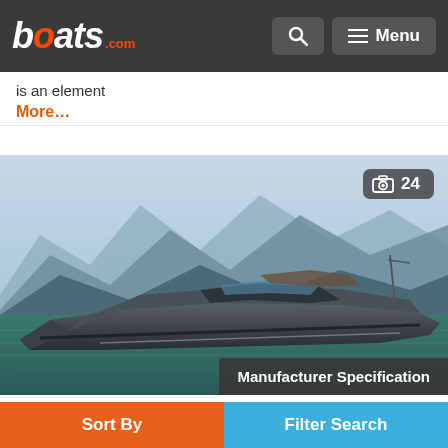boats.com navigation bar with search and menu
is an element
More…
[Figure (photo): Riva 56' Rivale luxury speedboat on water with mountains in background. Camera badge showing 24 photos. Manufacturer Specification label overlay at bottom right.]
Riva 56' Rivale
Sort By | Filter Search